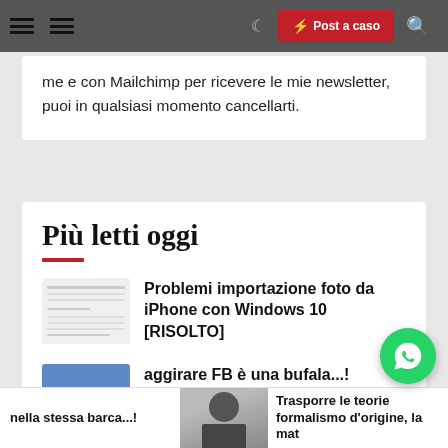Post a caso
me e con Mailchimp per ricevere le mie newsletter, puoi in qualsiasi momento cancellarti.
Più letti oggi
Problemi importazione foto da iPhone con Windows 10 [RISOLTO]
aggirare FB è una bufala...! Dovete semplicemente cliccare su "Più recenti"
nella stessa barca...!
Trasporre le teorie formalismo d'origine, la mat